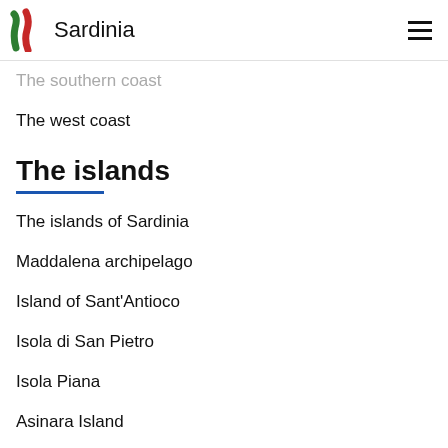Sardinia
The southern coast
The west coast
The islands
The islands of Sardinia
Maddalena archipelago
Island of Sant'Antioco
Isola di San Pietro
Isola Piana
Asinara Island
And Tavolara Molara